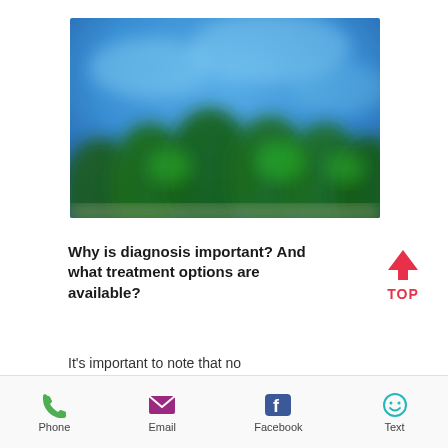[Figure (photo): Blurred outdoor photo showing green trees/foliage at bottom against a blue sky background]
Why is diagnosis important? And what treatment options are available?
It's important to note that no
Phone | Email | Facebook | Text